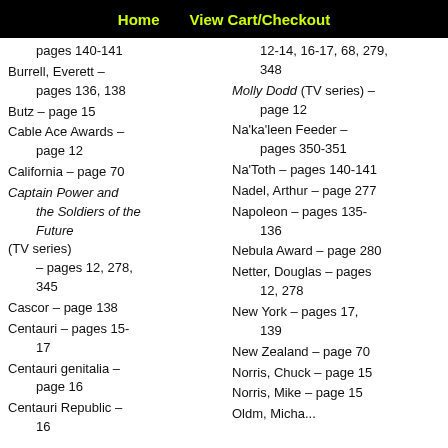Home   View Cart/Checkout
pages 140-141
Burrell, Everett – pages 136, 138
Butz – page 15
Cable Ace Awards – page 12
California – page 70
Captain Power and the Soldiers of the Future (TV series) – pages 12, 278, 345
Cascor – page 138
Centauri – pages 15-17
Centauri genitalia – page 16
Centauri Republic –
12-14, 16-17, 68, 279, 348
Molly Dodd (TV series) – page 12
Na'ka'leen Feeder – pages 350-351
Na'Toth – pages 140-141
Nadel, Arthur – page 277
Napoleon – pages 135-136
Nebula Award – page 280
Netter, Douglas – pages 12, 278
New York – pages 17, 139
New Zealand – page 70
Norris, Chuck – page 15
Norris, Mike – page 15
Oldm, Micha...